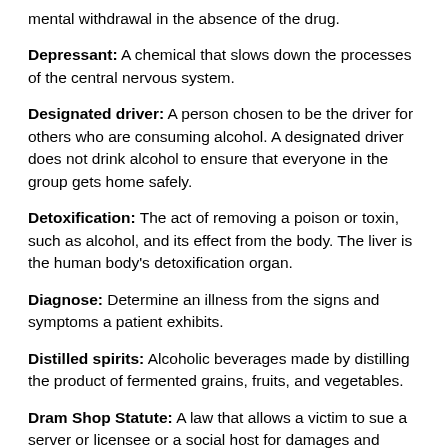mental withdrawal in the absence of the drug.
Depressant: A chemical that slows down the processes of the central nervous system.
Designated driver: A person chosen to be the driver for others who are consuming alcohol. A designated driver does not drink alcohol to ensure that everyone in the group gets home safely.
Detoxification: The act of removing a poison or toxin, such as alcohol, and its effect from the body. The liver is the human body’s detoxification organ.
Diagnose: Determine an illness from the signs and symptoms a patient exhibits.
Distilled spirits: Alcoholic beverages made by distilling the product of fermented grains, fruits, and vegetables.
Dram Shop Statute: A law that allows a victim to sue a server or licensee or a social host for damages and injuries resulting from the action of a customer. The first party is the